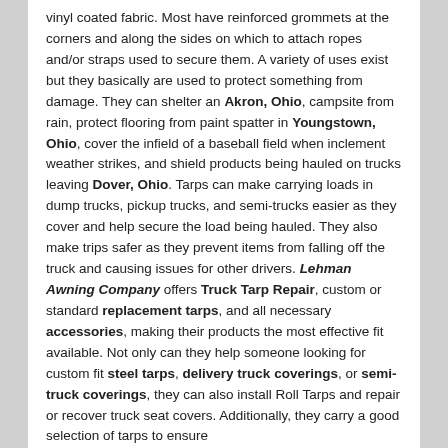vinyl coated fabric. Most have reinforced grommets at the corners and along the sides on which to attach ropes and/or straps used to secure them. A variety of uses exist but they basically are used to protect something from damage. They can shelter an Akron, Ohio, campsite from rain, protect flooring from paint spatter in Youngstown, Ohio, cover the infield of a baseball field when inclement weather strikes, and shield products being hauled on trucks leaving Dover, Ohio. Tarps can make carrying loads in dump trucks, pickup trucks, and semi-trucks easier as they cover and help secure the load being hauled. They also make trips safer as they prevent items from falling off the truck and causing issues for other drivers. Lehman Awning Company offers Truck Tarp Repair, custom or standard replacement tarps, and all necessary accessories, making their products the most effective fit available. Not only can they help someone looking for custom fit steel tarps, delivery truck coverings, or semi-truck coverings, they can also install Roll Tarps and repair or recover truck seat covers. Additionally, they carry a good selection of tarps to ensure